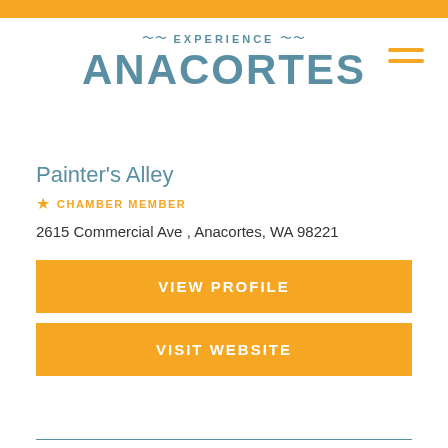[Figure (logo): Experience Anacortes logo with stylized wave decoration above large bold text]
Painter's Alley
★ CHAMBER MEMBER
2615 Commercial Ave , Anacortes, WA 98221
VIEW PROFILE
VISIT WEBSITE